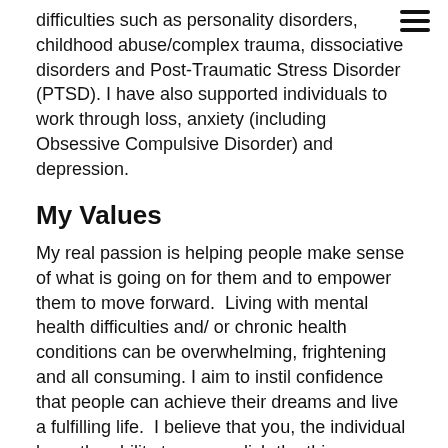difficulties such as personality disorders, childhood abuse/complex trauma, dissociative disorders and Post-Traumatic Stress Disorder (PTSD). I have also supported individuals to work through loss, anxiety (including Obsessive Compulsive Disorder) and depression.
My Values
My real passion is helping people make sense of what is going on for them and to empower them to move forward.  Living with mental health difficulties and/ or chronic health conditions can be overwhelming, frightening and all consuming. I aim to instil confidence that people can achieve their dreams and live a fulfilling life.  I believe that you, the individual have the ability to accomplish the things you want, my job is to help you believe it too.
The Models I Work With
I use a range of psychological therapies to suit your